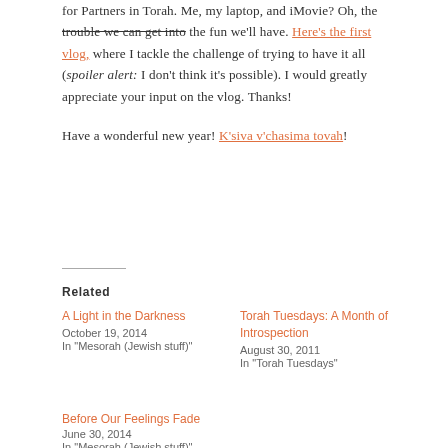for Partners in Torah. Me, my laptop, and iMovie? Oh, the trouble we can get into the fun we'll have. Here's the first vlog, where I tackle the challenge of trying to have it all (spoiler alert: I don't think it's possible). I would greatly appreciate your input on the vlog. Thanks!
Have a wonderful new year! K'siva v'chasima tovah!
Related
A Light in the Darkness
October 19, 2014
In "Mesorah (Jewish stuff)"
Torah Tuesdays: A Month of Introspection
August 30, 2011
In "Torah Tuesdays"
Before Our Feelings Fade
June 30, 2014
In "Mesorah (Jewish stuff)"